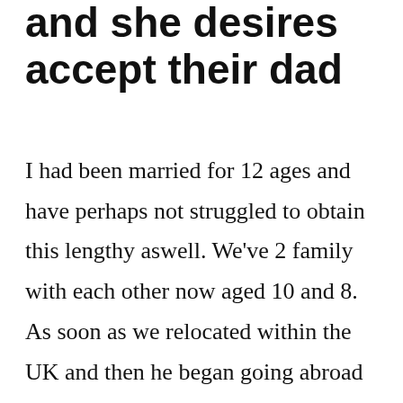and she desires accept their dad
I had been married for 12 ages and have perhaps not struggled to obtain this lengthy aswell. We've 2 family with each other now aged 10 and 8. As soon as we relocated within the UK and then he began going abroad he is figure changed. The guy turned most controlling and mentally and actually abusive towards myself. Conclusion of 2010 I discovered which he was having an affair for